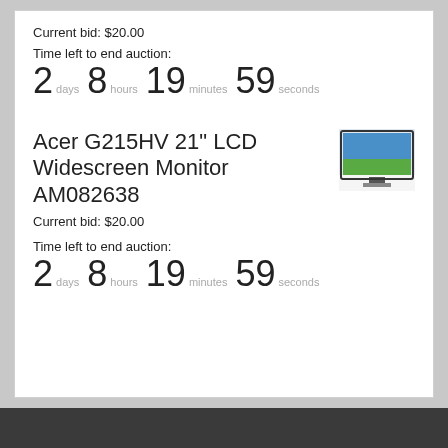Current bid: $20.00
Time left to end auction:
2 days  8 hours  19 minutes  59 seconds
Acer G215HV 21" LCD Widescreen Monitor AM082638
[Figure (photo): Thumbnail image of Acer G215HV LCD widescreen monitor]
Current bid: $20.00
Time left to end auction:
2 days  8 hours  19 minutes  59 seconds